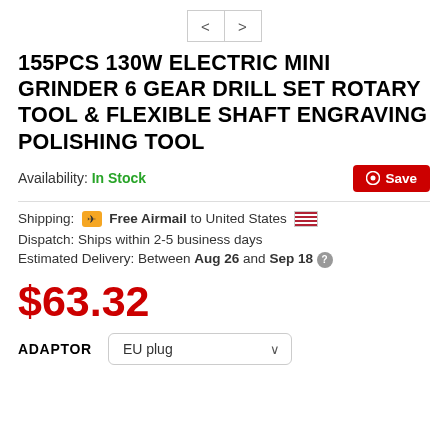[Figure (other): Navigation arrows (back and forward) buttons]
155PCS 130W ELECTRIC MINI GRINDER 6 GEAR DRILL SET ROTARY TOOL & FLEXIBLE SHAFT ENGRAVING POLISHING TOOL
Availability: In Stock
Save (Pinterest button)
Shipping: ✈ Free Airmail to United States 🇺🇸
Dispatch: Ships within 2-5 business days
Estimated Delivery: Between Aug 26 and Sep 18 ?
$63.32
ADAPTOR  EU plug